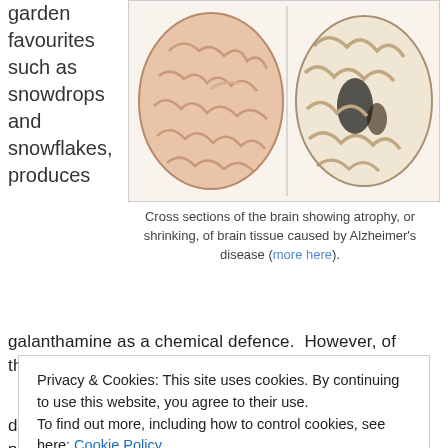garden favourites such as snowdrops and snowflakes, produces
[Figure (photo): Cross sections of two human brains side by side, showing atrophy or shrinking of brain tissue caused by Alzheimer's disease. Left brain appears pink/tan, right brain appears more pale with visible dark areas indicating tissue loss.]
Cross sections of the brain showing atrophy, or shrinking, of brain tissue caused by Alzheimer's disease (more here).
galanthamine as a chemical defence.  However, of these, only
Privacy & Cookies: This site uses cookies. By continuing to use this website, you agree to their use.
To find out more, including how to control cookies, see here: Cookie Policy
daffodils for galanthamine in upland areas.  The plants produce